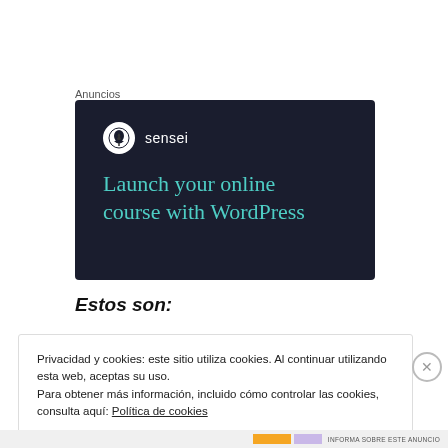Anuncios
[Figure (illustration): Advertisement banner for Sensei plugin on dark navy background showing logo and text 'Launch your online course with WordPress' in teal color]
Estos son:
Privacidad y cookies: este sitio utiliza cookies. Al continuar utilizando esta web, aceptas su uso.
Para obtener más información, incluido cómo controlar las cookies, consulta aquí: Política de cookies
Cerrar y aceptar